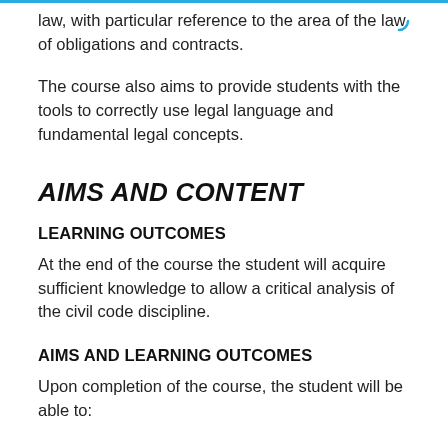law, with particular reference to the area of the law of obligations and contracts.
The course also aims to provide students with the tools to correctly use legal language and fundamental legal concepts.
AIMS AND CONTENT
LEARNING OUTCOMES
At the end of the course the student will acquire sufficient knowledge to allow a critical analysis of the civil code discipline.
AIMS AND LEARNING OUTCOMES
Upon completion of the course, the student will be able to: